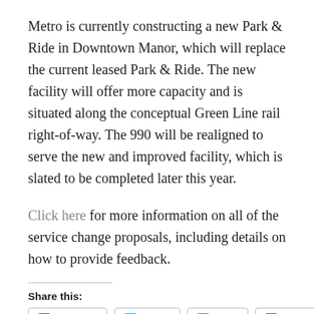Metro is currently constructing a new Park & Ride in Downtown Manor, which will replace the current leased Park & Ride. The new facility will offer more capacity and is situated along the conceptual Green Line rail right-of-way. The 990 will be realigned to serve the new and improved facility, which is slated to be completed later this year.
Click here for more information on all of the service change proposals, including details on how to provide feedback.
Share this: Facebook Twitter Email LinkedIn